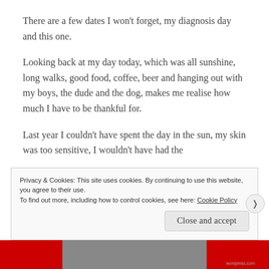There are a few dates I won't forget, my diagnosis day and this one.
Looking back at my day today, which was all sunshine, long walks, good food, coffee, beer and hanging out with my boys, the dude and the dog, makes me realise how much I have to be thankful for.
Last year I couldn't have spent the day in the sun, my skin was too sensitive, I wouldn't have had the
Privacy & Cookies: This site uses cookies. By continuing to use this website, you agree to their use.
To find out more, including how to control cookies, see here: Cookie Policy
Close and accept